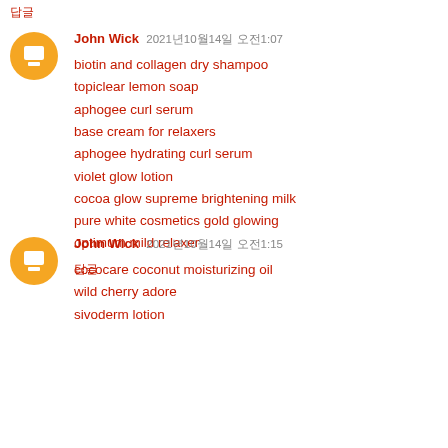답글
John Wick 2021년10월14일 오전1:07
biotin and collagen dry shampoo
topiclear lemon soap
aphogee curl serum
base cream for relaxers
aphogee hydrating curl serum
violet glow lotion
cocoa glow supreme brightening milk
pure white cosmetics gold glowing
optimum mild relaxer
답글
John Wick 2021년10월14일 오전1:15
cococare coconut moisturizing oil
wild cherry adore
sivoderm lotion